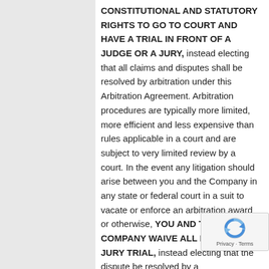CONSTITUTIONAL AND STATUTORY RIGHTS TO GO TO COURT AND HAVE A TRIAL IN FRONT OF A JUDGE OR A JURY, instead electing that all claims and disputes shall be resolved by arbitration under this Arbitration Agreement. Arbitration procedures are typically more limited, more efficient and less expensive than rules applicable in a court and are subject to very limited review by a court. In the event any litigation should arise between you and the Company in any state or federal court in a suit to vacate or enforce an arbitration award or otherwise, YOU AND THE COMPANY WAIVE ALL RIGHTS TO A JURY TRIAL, instead electing that the dispute be resolved by a
[Figure (logo): reCAPTCHA badge with Google reCAPTCHA logo (blue/grey circular arrow icon) and 'Privacy · Terms' text]